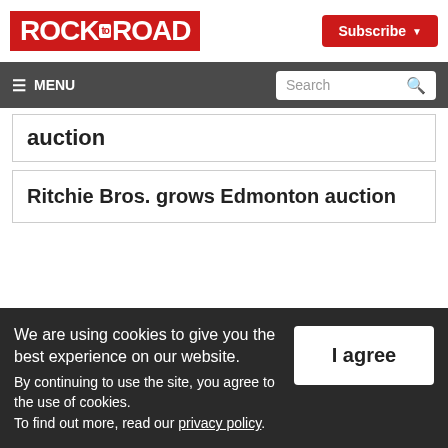ROCK to ROAD
Subscribe
≡ MENU  Search
auction
Ritchie Bros. grows Edmonton auction
We are using cookies to give you the best experience on our website. By continuing to use the site, you agree to the use of cookies. To find out more, read our privacy policy.